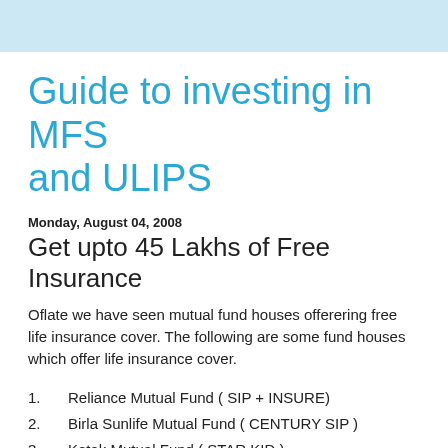Guide to investing in MFS and ULIPS
Monday, August 04, 2008
Get upto 45 Lakhs of Free Insurance
Oflate we have seen mutual fund houses offerering free life insurance cover. The following are some fund houses which offer life insurance cover.
Reliance Mutual Fund ( SIP + INSURE)
Birla Sunlife Mutual Fund ( CENTURY SIP )
Kotak Mutual Fund ( STAR KID )
DWB Mutual Fund...